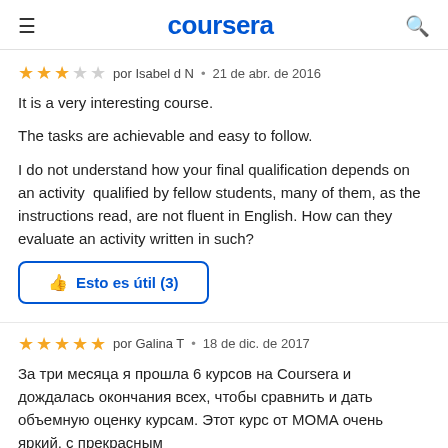≡   coursera   🔍
★★★☆☆  por Isabel d N  •  21 de abr. de 2016
It is a very interesting course.

The tasks are achievable and easy to follow.

I do not understand how your final qualification depends on an activity  qualified by fellow students, many of them, as the instructions read, are not fluent in English. How can they evaluate an activity written in such?
Esto es útil (3)
★★★★★  por Galina T  •  18 de dic. de 2017
За три месяца я прошла 6 курсов на Coursera и дождалась окончания всех, чтобы сравнить и дать объемную оценку курсам. Этот курс от МОМА очень яркий, с прекрасным